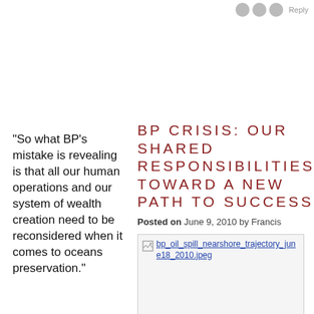"So what BP's mistake is revealing is that all our human operations and our system of wealth creation need to be reconsidered when it comes to oceans preservation."
BP CRISIS: OUR SHARED RESPONSIBILITIES TOWARD A NEW PATH TO SUCCESS
Posted on June 9, 2010 by Francis
[Figure (photo): Broken image placeholder with filename: bp_oil_spill_nearshore_trajectory_june18_2010.jpeg]